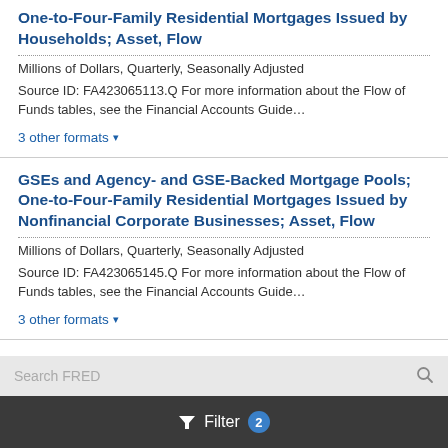One-to-Four-Family Residential Mortgages Issued by Households; Asset, Flow
Millions of Dollars, Quarterly, Seasonally Adjusted
Source ID: FA423065113.Q For more information about the Flow of Funds tables, see the Financial Accounts Guide…
3 other formats ▾
GSEs and Agency- and GSE-Backed Mortgage Pools; One-to-Four-Family Residential Mortgages Issued by Nonfinancial Corporate Businesses; Asset, Flow
Millions of Dollars, Quarterly, Seasonally Adjusted
Source ID: FA423065145.Q For more information about the Flow of Funds tables, see the Financial Accounts Guide…
3 other formats ▾
Filter 2